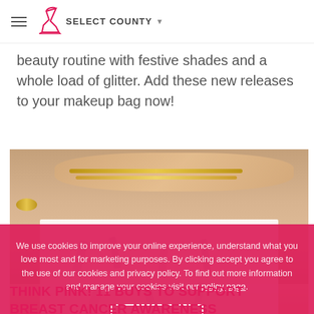SELECT COUNTY
beauty routine with festive shades and a whole load of glitter. Add these new releases to your makeup bag now!
[Figure (photo): Woman wearing white t-shirt with lipstick/makeup illustrations, wearing gold chain necklaces and bracelet, hands touching necklaces]
We use cookies to improve your online experience, understand what you love most and for marketing purposes. By clicking accept you agree to the use of our cookies and privacy policy. To find out more information and manage your cookies visit our policy page.
THINK PINK! 11 BUYS TO SUPPORT BREAST CANCER AWARENESS